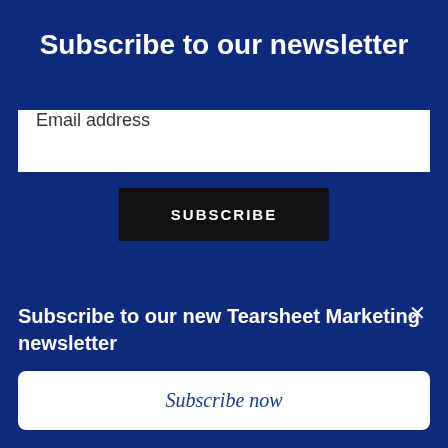Subscribe to our newsletter
Email address
SUBSCRIBE
Receive information about Tearsheet programs and events
Follow us
Otearsheet
Subscribe to our new Tearsheet Marketing newsletter
Subscribe now